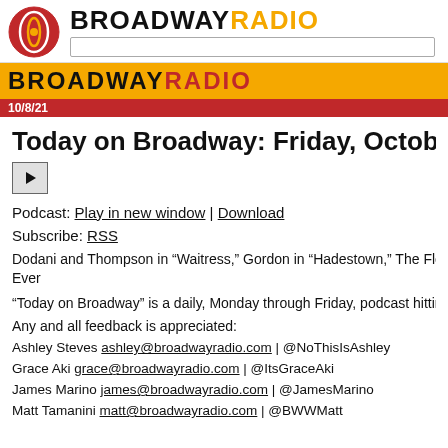BROADWAYRADIO
BROADWAY RADIO 10/8/21
Today on Broadway: Friday, October 8, 20...
[Figure (other): Play button icon]
Podcast: Play in new window | Download
Subscribe: RSS
Dodani and Thompson in “Waitress,” Gordon in “Hadestown,” The Flea Is Ba... Ever
“Today on Broadway” is a daily, Monday through Friday, podcast hitting the t...
Any and all feedback is appreciated:
Ashley Steves ashley@broadwayradio.com | @NoThisIsAshley
Grace Aki grace@broadwayradio.com | @ItsGraceAki
James Marino james@broadwayradio.com | @JamesMarino
Matt Tamanini matt@broadwayradio.com | @BWWMatt